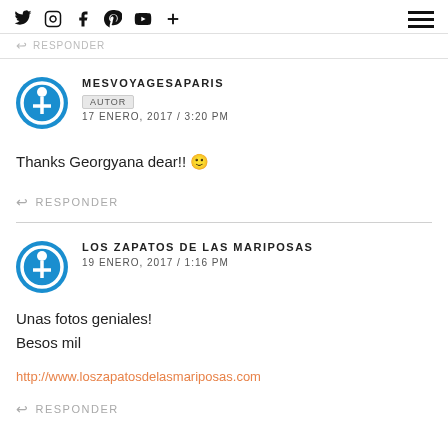Social icons: Twitter, Instagram, Facebook, Pinterest, YouTube, Plus. Hamburger menu.
↩ RESPONDER
MESVOYAGESAPARIS
AUTOR
17 ENERO, 2017 / 3:20 PM
Thanks Georgyana dear!! 🙂
↩ RESPONDER
LOS ZAPATOS DE LAS MARIPOSAS
19 ENERO, 2017 / 1:16 PM
Unas fotos geniales!
Besos mil
http://www.loszapatosdelasmariposas.com
↩ RESPONDER